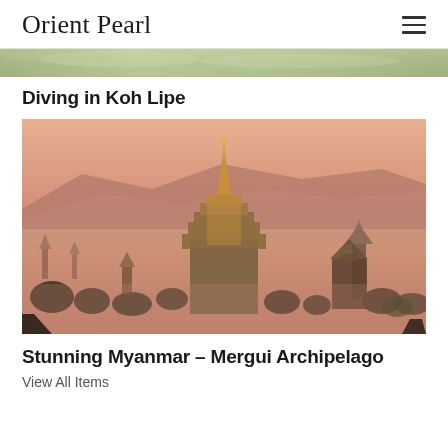Orient Pearl
[Figure (photo): Partial top strip of a landscape photo, appears to be a green/natural scene]
Diving in Koh Lipe
[Figure (photo): Aerial view of Bagan, Myanmar at dusk/dawn showing ancient temples and pagodas emerging from mist, with a large illuminated golden temple in the center and mountains in the background]
Stunning Myanmar – Mergui Archipelago
View All Items